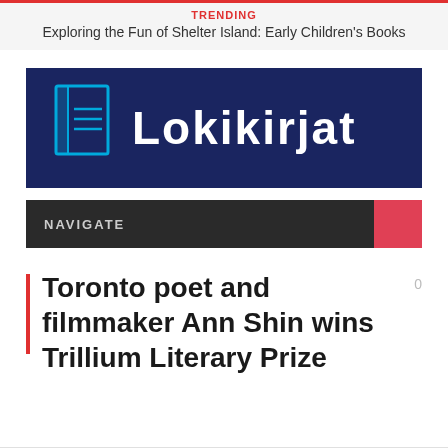TRENDING
Exploring the Fun of Shelter Island: Early Children's Books
[Figure (logo): Lokikirjat logo: dark navy blue banner with a book icon on the left (cyan outline of a book/notebook) and the word 'Lokikirjat' in large white bold text on the right.]
[Figure (infographic): Navigation bar: dark charcoal background with 'NAVIGATE' in light grey uppercase letters on the left and a red square on the right.]
Toronto poet and filmmaker Ann Shin wins Trillium Literary Prize